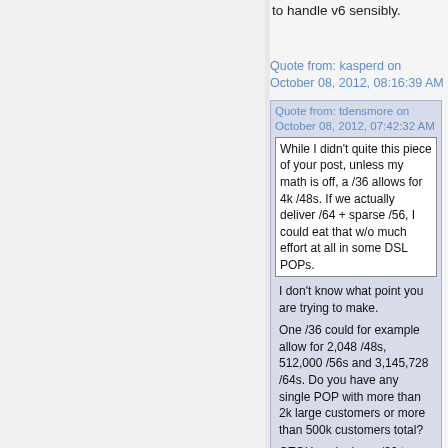to handle v6 sensibly.
Quote from: kasperd on October 08, 2012, 08:16:39 AM
Quote from: tdensmore on October 08, 2012, 07:42:32 AM
While I didn't quite this piece of your post, unless my math is off, a /36 allows for 4k /48s.  If we actually deliver /64 + sparse /56, I could eat that w/o much effort at all in some DSL POPs.
I don't know what point you are trying to make.

One /36 could for example allow for 2,048 /48s, 512,000 /56s and 3,145,728 /64s. Do you have any single POP with more than 2k large customers or more than 500k customers total?

OTOH assigning a /36 to each POP means you can have no more than 16 POPs total. I don't know how many POPs you have right now, but 16 POPs doesn't sound like a lot to me.

Either way I do think your allocation strategy sounds sensible. If you do use all 16 /36s and each POP has